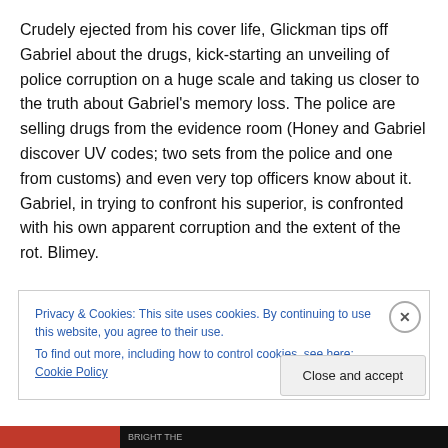Crudely ejected from his cover life, Glickman tips off Gabriel about the drugs, kick-starting an unveiling of police corruption on a huge scale and taking us closer to the truth about Gabriel's memory loss. The police are selling drugs from the evidence room (Honey and Gabriel discover UV codes; two sets from the police and one from customs) and even very top officers know about it. Gabriel, in trying to confront his superior, is confronted with his own apparent corruption and the extent of the rot. Blimey.
Privacy & Cookies: This site uses cookies. By continuing to use this website, you agree to their use.
To find out more, including how to control cookies, see here: Cookie Policy
Close and accept